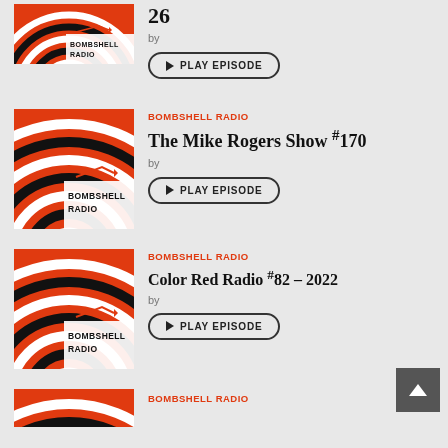[Figure (screenshot): Bombshell Radio podcast episode list showing 3 full episode cards and partial 4th card with episode artwork, titles, and play buttons]
26
by
▶ PLAY EPISODE
BOMBSHELL RADIO
The Mike Rogers Show #170
by
▶ PLAY EPISODE
BOMBSHELL RADIO
Color Red Radio #82 – 2022
by
▶ PLAY EPISODE
BOMBSHELL RADIO